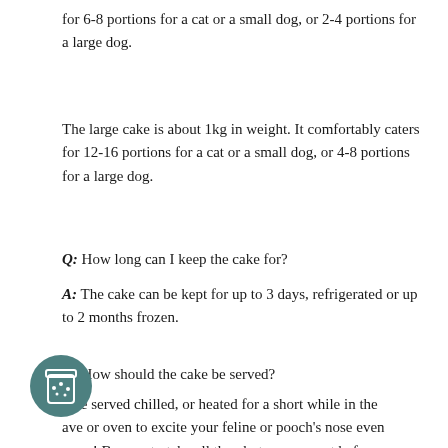for 6-8 portions for a cat or a small dog, or 2-4 portions for a large dog.
The large cake is about 1kg in weight. It comfortably caters for 12-16 portions for a cat or a small dog, or 4-8 portions for a large dog.
Q: How long can I keep the cake for?
A: The cake can be kept for up to 3 days, refrigerated or up to 2 months frozen.
Q: How should the cake be served?
A: Can be served chilled, or heated for a short while in the microwave or oven to excite your feline or pooch's nose even more! Be sure to take all the photos you want before heating up though, as the frosting may not hold up well after being heated.
[Figure (illustration): Circular teal icon with a jar/container graphic inside]